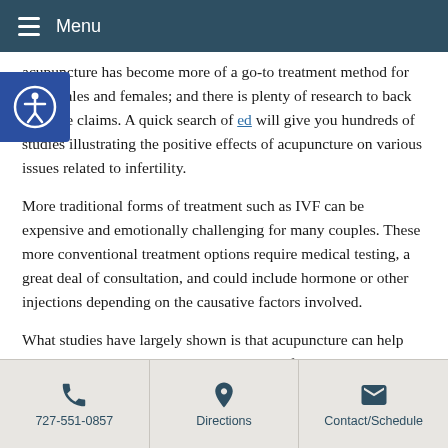Menu
acupuncture has become more of a go-to treatment method for both males and females; and there is plenty of research to back up these claims. A quick search of [link: ed] will give you hundreds of studies illustrating the positive effects of acupuncture on various issues related to infertility.
More traditional forms of treatment such as IVF can be expensive and emotionally challenging for many couples. These more conventional treatment options require medical testing, a great deal of consultation, and could include hormone or other injections depending on the causative factors involved.
What studies have largely shown is that acupuncture can help with the issues that might be causing the infertility.
727-551-0857 | Directions | Contact/Schedule